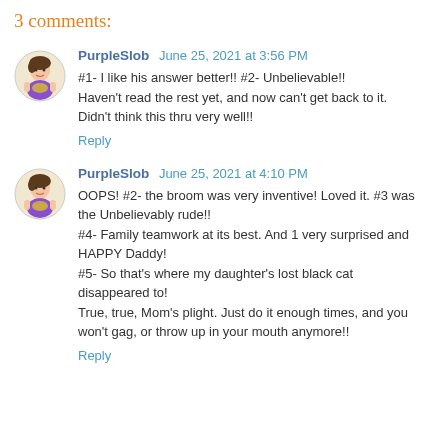3 comments:
PurpleSlob June 25, 2021 at 3:56 PM
#1- I like his answer better!! #2- Unbelievable!! Haven't read the rest yet, and now can't get back to it. Didn't think this thru very well!!
Reply
PurpleSlob June 25, 2021 at 4:10 PM
OOPS! #2- the broom was very inventive! Loved it. #3 was the Unbelievably rude!! #4- Family teamwork at its best. And 1 very surprised and HAPPY Daddy! #5- So that's where my daughter's lost black cat disappeared to! True, true, Mom's plight. Just do it enough times, and you won't gag, or throw up in your mouth anymore!!
Reply